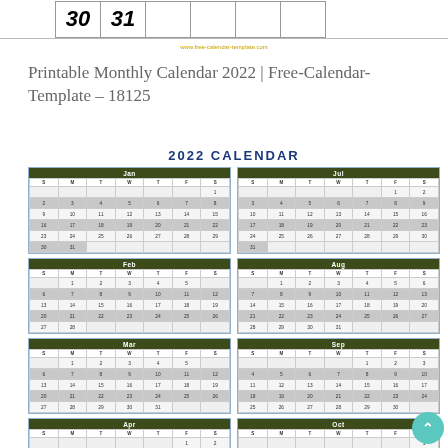| 30 | 31 |  |  |  |  |
| --- | --- | --- | --- | --- | --- |
www.free-calendar-template.com
Printable Monthly Calendar 2022 | Free-Calendar-Template – 18125
2022 CALENDAR
| S | M | T | W | T | F | S |
| --- | --- | --- | --- | --- | --- | --- |
|  |  |  |  |  |  | 1 |
| 2 | 3 | 4 | 5 | 6 | 7 | 8 |
| 9 | 10 | 11 | 12 | 13 | 14 | 15 |
| 16 | 17 | 18 | 19 | 20 | 21 | 22 |
| 23 | 24 | 25 | 26 | 27 | 28 | 29 |
| 30 | 31 |  |  |  |  |  |
| S | M | T | W | T | F | S |
| --- | --- | --- | --- | --- | --- | --- |
|  |  | 1 | 2 | 3 | 4 | 5 |
| 6 | 7 | 8 | 9 | 10 | 11 | 12 |
| 13 | 14 | 15 | 16 | 17 | 18 | 19 |
| 20 | 21 | 22 | 23 | 24 | 25 | 26 |
| 27 | 28 |  |  |  |  |  |